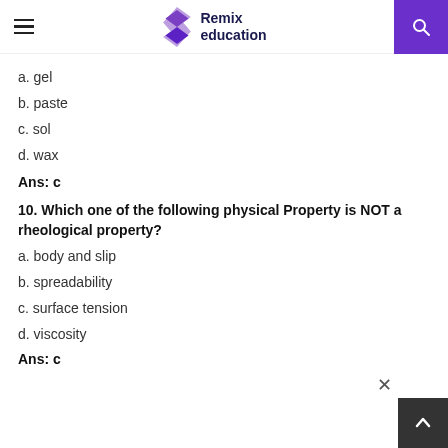Remix education
a. gel
b. paste
c. sol
d. wax
Ans: c
10. Which one of the following physical Property is NOT a rheological property?
a. body and slip
b. spreadability
c. surface tension
d. viscosity
Ans: c